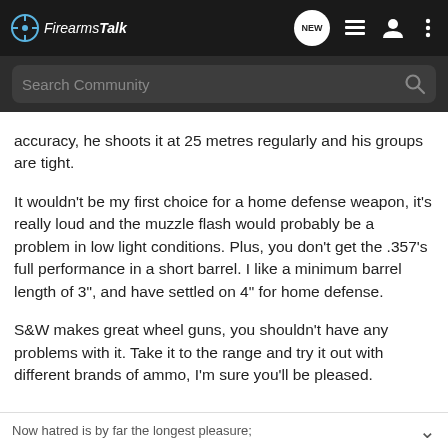FirearmsTalk
accuracy, he shoots it at 25 metres regularly and his groups are tight.
It wouldn't be my first choice for a home defense weapon, it's really loud and the muzzle flash would probably be a problem in low light conditions. Plus, you don't get the .357's full performance in a short barrel. I like a minimum barrel length of 3", and have settled on 4" for home defense.
S&W makes great wheel guns, you shouldn't have any problems with it. Take it to the range and try it out with different brands of ammo, I'm sure you'll be pleased.
Now hatred is by far the longest pleasure;